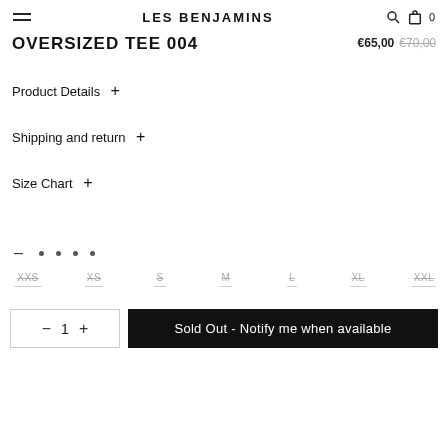LES BENJAMINS
OVERSIZED TEE 004
€65,00  €70,00
Product Details +
Shipping and return +
Size Chart +
XXS  XS  S  M  L  XL  XXL
– 1 + Sold Out - Notify me when available